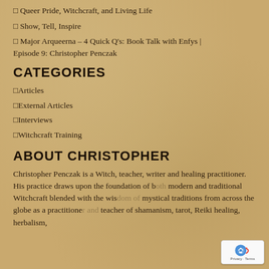⬜ Queer Pride, Witchcraft, and Living Life
⬜ Show, Tell, Inspire
⬜ Major Arqueerna – 4 Quick Q's: Book Talk with Enfys | Episode 9: Christopher Penczak
CATEGORIES
⬜Articles
⬜External Articles
⬜Interviews
⬜Witchcraft Training
ABOUT CHRISTOPHER
Christopher Penczak is a Witch, teacher, writer and healing practitioner. His practice draws upon the foundation of both modern and traditional Witchcraft blended with the wisdom of mystical traditions from across the globe as a practitioner and teacher of shamanism, tarot, Reiki healing, herbalism,